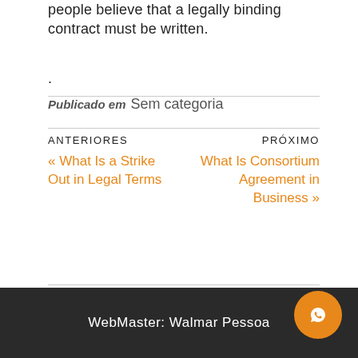people believe that a legally binding contract must be written.
.
Publicado em  Sem categoria
ANTERIORES
« What Is a Strike Out in Legal Terms
PRÓXIMO
What Is Consortium Agreement in Business »
WebMaster: Walmar Pessoa